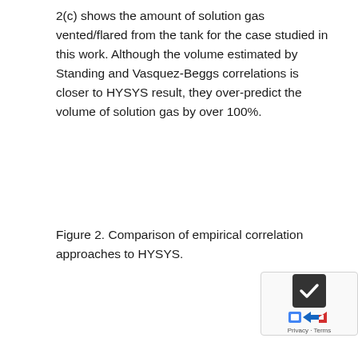2(c) shows the amount of solution gas vented/flared from the tank for the case studied in this work. Although the volume estimated by Standing and Vasquez-Beggs correlations is closer to HYSYS result, they over-predict the volume of solution gas by over 100%.
Figure 2. Comparison of empirical correlation approaches to HYSYS.